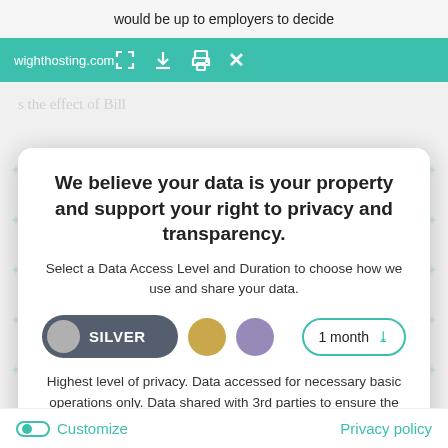would be up to employers to decide
wighthosting.com
We believe your data is your property and support your right to privacy and transparency.
Select a Data Access Level and Duration to choose how we use and share your data.
[Figure (infographic): Privacy level selector with SILVER toggle button selected (dark grey pill with grey circle and SILVER label), gold circle option, purple circle option, and a 1 month duration dropdown.]
Highest level of privacy. Data accessed for necessary basic operations only. Data shared with 3rd parties to ensure the site is secure and works on your device
Save my preferences
Customize
Privacy policy